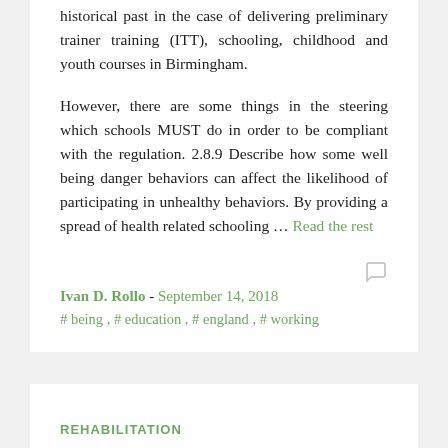historical past in the case of delivering preliminary trainer training (ITT), schooling, childhood and youth courses in Birmingham.
However, there are some things in the steering which schools MUST do in order to be compliant with the regulation. 2.8.9 Describe how some well being danger behaviors can affect the likelihood of participating in unhealthy behaviors. By providing a spread of health related schooling … Read the rest
Ivan D. Rollo - September 14, 2018
# being, # education, # england, # working
REHABILITATION
Art   Acute   Rehab